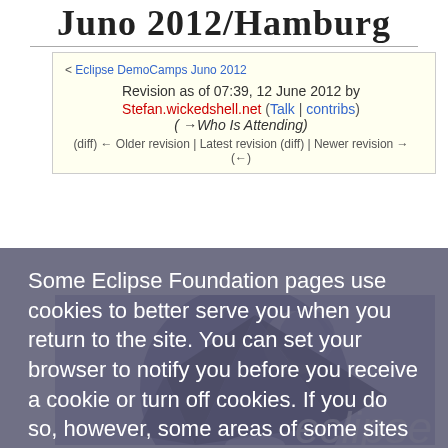Juno 2012/Hamburg
< Eclipse DemoCamps Juno 2012
Revision as of 07:39, 12 June 2012 by Stefan.wickedshell.net (Talk | contribs) (→Who Is Attending)
(diff) ← Older revision | Latest revision (diff) | Newer revision → (←)
Some Eclipse Foundation pages use cookies to better serve you when you return to the site. You can set your browser to notify you before you receive a cookie or turn off cookies. If you do so, however, some areas of some sites may not function properly. To read Eclipse Foundation Privacy Policy, click here.
[Figure (logo): Eclipse Juno logo — dark purple/indigo geometric origami-style bird/ship shape with a moon in background, on circular dark background, with 'eclipse' italic text wordmark]